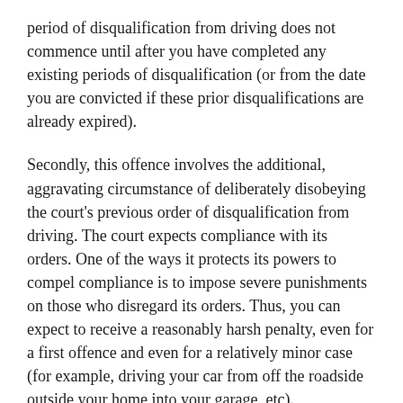period of disqualification from driving does not commence until after you have completed any existing periods of disqualification (or from the date you are convicted if these prior disqualifications are already expired).
Secondly, this offence involves the additional, aggravating circumstance of deliberately disobeying the court's previous order of disqualification from driving. The court expects compliance with its orders. One of the ways it protects its powers to compel compliance is to impose severe punishments on those who disregard its orders. Thus, you can expect to receive a reasonably harsh penalty, even for a first offence and even for a relatively minor case (for example, driving your car from off the roadside outside your home into your garage, etc).
Repeated convictions from disqualified driving (especially when the offences occur within a relatively short period of